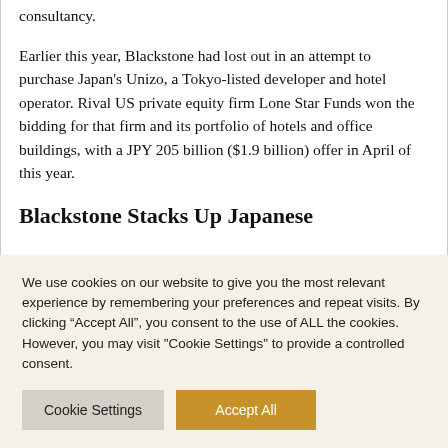consultancy.
Earlier this year, Blackstone had lost out in an attempt to purchase Japan’s Unizo, a Tokyo-listed developer and hotel operator. Rival US private equity firm Lone Star Funds won the bidding for that firm and its portfolio of hotels and office buildings, with a JPY 205 billion ($1.9 billion) offer in April of this year.
Blackstone Stacks Up Japanese
We use cookies on our website to give you the most relevant experience by remembering your preferences and repeat visits. By clicking “Accept All”, you consent to the use of ALL the cookies. However, you may visit "Cookie Settings" to provide a controlled consent.